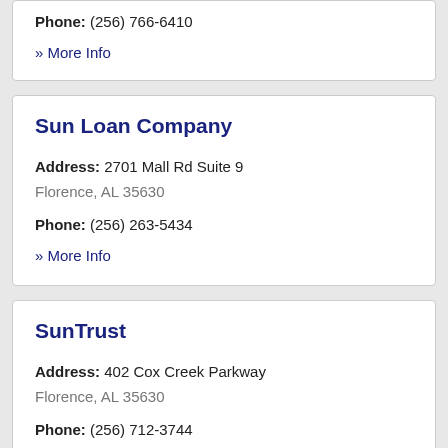Phone: (256) 766-6410
» More Info
Sun Loan Company
Address: 2701 Mall Rd Suite 9 Florence, AL 35630
Phone: (256) 263-5434
» More Info
SunTrust
Address: 402 Cox Creek Parkway Florence, AL 35630
Phone: (256) 712-3744
» More Info